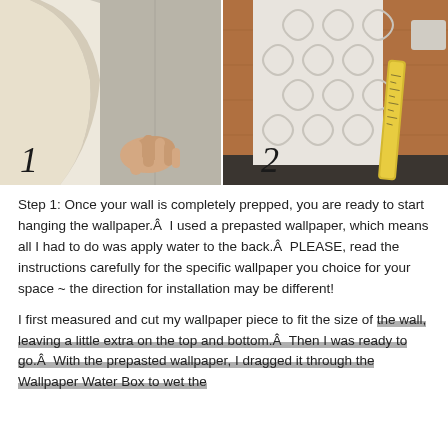[Figure (photo): Two side-by-side photos. Left photo (labeled 1): A hand peeling/lifting a sheet of light-colored wallpaper away from a wall. Right photo (labeled 2): Patterned wallpaper with a trellis/quatrefoil design lying flat on a wooden surface, with a tape measure beside it.]
Step 1: Once your wall is completely prepped, you are ready to start hanging the wallpaper.Â  I used a prepasted wallpaper, which means all I had to do was apply water to the back.Â  PLEASE, read the instructions carefully for the specific wallpaper you choice for your space ~ the direction for installation may be different!
I first measured and cut my wallpaper piece to fit the size of the wall, leaving a little extra on the top and bottom.Â  Then I was ready to go.Â  With the prepasted wallpaper, I dragged it through the Wallpaper Water Box to wet the...